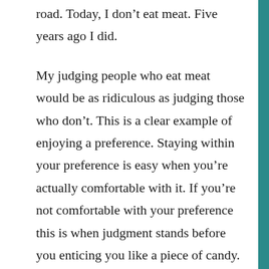road. Today, I don't eat meat. Five years ago I did.
My judging people who eat meat would be as ridiculous as judging those who don't. This is a clear example of enjoying a preference. Staying within your preference is easy when you're actually comfortable with it. If you're not comfortable with your preference this is when judgment stands before you enticing you like a piece of candy. The moment you jump into judgment then you're actually practicing